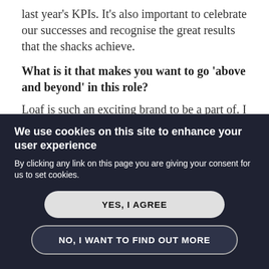last year's KPIs. It's also important to celebrate our successes and recognise the great results that the shacks achieve.
What is it that makes you want to go 'above and beyond' in this role?
Loaf is such an exciting brand to be a part of. I have never been more supported or better recognised for my achievements than I am right now, and collectively Loaf are smashing
We use cookies on this site to enhance your user experience
By clicking any link on this page you are giving your consent for us to set cookies.
YES, I AGREE
NO, I WANT TO FIND OUT MORE